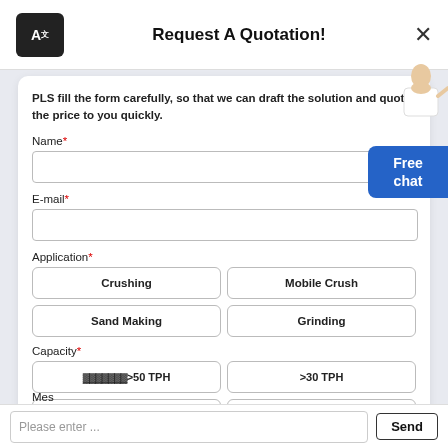Request A Quotation!
PLS fill the form carefully, so that we can draft the solution and quote the price to you quickly.
Name*
E-mail*
Application*
Crushing
Mobile Crush
Sand Making
Grinding
Capacity*
>50 TPH
>30 TPH
>10 TPH
<10 TPH
Mes
Please enter ...
Send